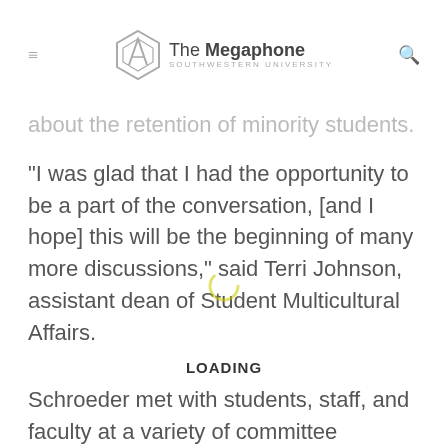The Megaphone — Southwestern University
about the retention of minority students.
"I was glad that I had the opportunity to be a part of the conversation, [and I hope] this will be the beginning of many more discussions," said Terri Johnson, assistant dean of Student Multicultural Affairs.
LOADING
Schroeder met with students, staff, and faculty at a variety of committee meetings and focus groups. Each meeting targeted underrepresented student populations and attempted to develop ways in which to foster support for diversity students and encourage interactions between students of